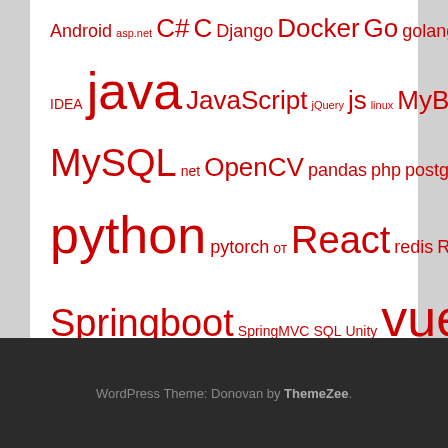Android asp.net C# C Django Docker Go golang IDEA java JavaScript jQuery js linux MyBatis MySQL net OpenCV pandas php postgresql python pytorch от React redis R Spring Springboot SpringMVC SQL Unity vue vue3
WordPress Theme: Donovan by ThemeZee.